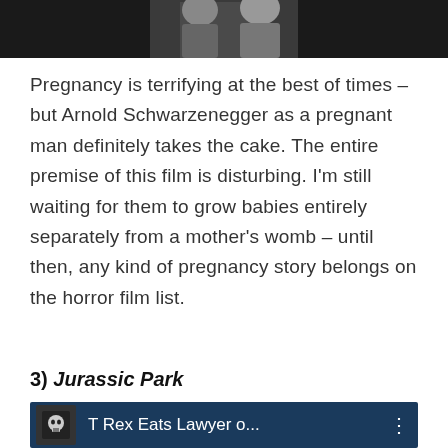[Figure (photo): Partial photo of two people, dark background, top of page]
Pregnancy is terrifying at the best of times – but Arnold Schwarzenegger as a pregnant man definitely takes the cake. The entire premise of this film is disturbing. I'm still waiting for them to grow babies entirely separately from a mother's womb – until then, any kind of pregnancy story belongs on the horror film list.
3) Jurassic Park
[Figure (screenshot): Video thumbnail showing skull icon and text 'T Rex Eats Lawyer o...' on dark blue background with three-dot menu]